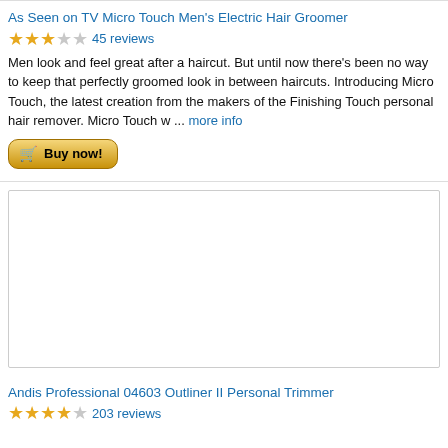As Seen on TV Micro Touch Men's Electric Hair Groomer
★★★☆☆ 45 reviews
Men look and feel great after a haircut. But until now there's been no way to keep that perfectly groomed look in between haircuts. Introducing Micro Touch, the latest creation from the makers of the Finishing Touch personal hair remover. Micro Touch w ... more info
[Figure (other): Buy now button with shopping cart icon]
[Figure (other): Product image placeholder box (empty/white)]
Andis Professional 04603 Outliner II Personal Trimmer
★★★★☆ 203 reviews